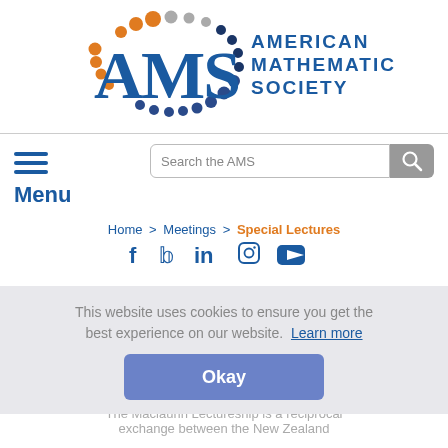[Figure (logo): American Mathematical Society (AMS) logo with colorful dot arc and blue text]
Search the AMS
Menu
Home > Meetings > Special Lectures
[Figure (other): Social media icons: Facebook, Twitter, LinkedIn, Instagram, YouTube]
This website uses cookies to ensure you get the best experience on our website. Learn more
Okay
AMS-NZMS Maclaurin Lectureship
The Maclaurin Lectureship is a reciprocal exchange between the New Zealand